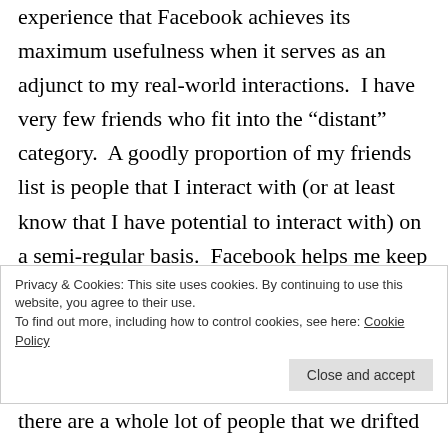experience that Facebook achieves its maximum usefulness when it serves as an adjunct to my real-world interactions. I have very few friends who fit into the “distant” category. A goodly proportion of my friends list is people that I interact with (or at least know that I have potential to interact with) on a semi-regular basis. Facebook helps me keep in touch with people with whom I am already in reasonably regular contact. (Of course, the buried truth here is that “distant” doesn’t mean geographically separated, it means distant in
Privacy & Cookies: This site uses cookies. By continuing to use this website, you agree to their use.
To find out more, including how to control cookies, see here: Cookie Policy
there are a whole lot of people that we drifted